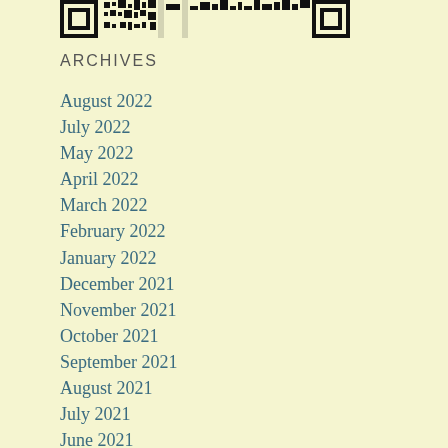[Figure (other): QR code or pixel logo at top of page]
ARCHIVES
August 2022
July 2022
May 2022
April 2022
March 2022
February 2022
January 2022
December 2021
November 2021
October 2021
September 2021
August 2021
July 2021
June 2021
May 2021
April 2021